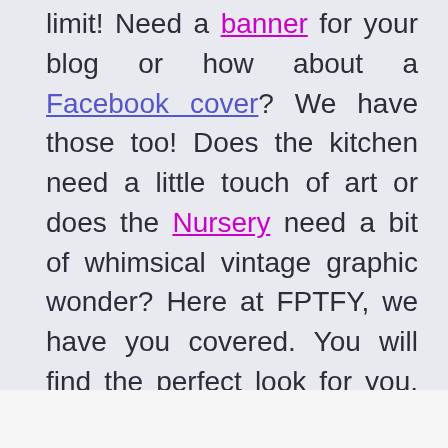limit! Need a banner for your blog or how about a Facebook cover? We have those too! Does the kitchen need a little touch of art or does the Nursery need a bit of whimsical vintage graphic wonder? Here at FPTFY, we have you covered. You will find the perfect look for you, your family, friends and the perfect graphics to create accents for your home decor. Are you a scrapper?